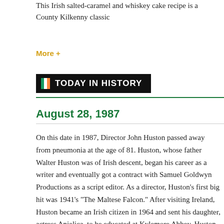This Irish salted-caramel and whiskey cake recipe is a County Kilkenny classic
More +
TODAY IN HISTORY
August 28, 1987
On this date in 1987, Director John Huston passed away from pneumonia at the age of 81. Huston, whose father Walter Huston was of Irish descent, began his career as a writer and eventually got a contract with Samuel Goldwyn Productions as a script editor. As a director, Huston’s first big hit was 1941’s “The Maltese Falcon.” After visiting Ireland, Huston became an Irish citizen in 1964 and sent his daughter, actress Anjelica, to be educated at Kylemore Abbey. Huston also directed an adaptation of James Joyce’s “The Dead” in 1987. It was his last film.